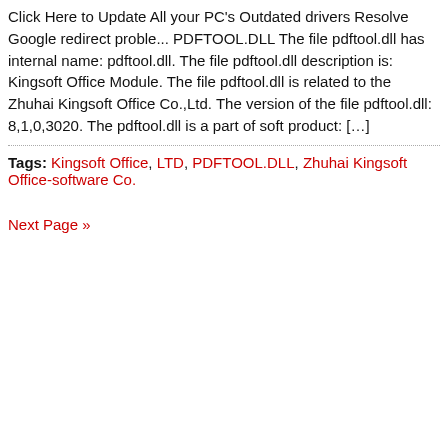Click Here to Update All your PC's Outdated drivers Resolve Google redirect proble... PDFTOOL.DLL The file pdftool.dll has internal name: pdftool.dll. The file pdftool.dll description is: Kingsoft Office Module. The file pdftool.dll is related to the Zhuhai Kingsoft Office Co.,Ltd. The version of the file pdftool.dll: 8,1,0,3020. The pdftool.dll is a part of soft product: […]
Tags: Kingsoft Office, LTD, PDFTOOL.DLL, Zhuhai Kingsoft Office-software Co.
Next Page »